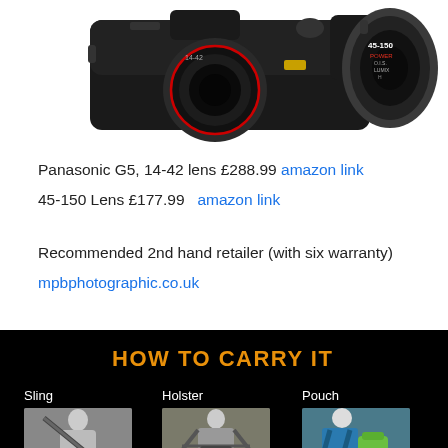[Figure (photo): Product photo of a Panasonic G5 camera with 14-42 lens and a separate 45-150 lens on white background]
Panasonic G5, 14-42 lens £288.99 amazon link
45-150 Lens £177.99  amazon link
Recommended 2nd hand retailer (with six warranty)
mpbphotographic.co.uk
[Figure (infographic): Black background banner titled 'HOW TO CARRY IT' showing three camera carry options: Sling, Holster, and Pouch, each with a small product photo below the label]